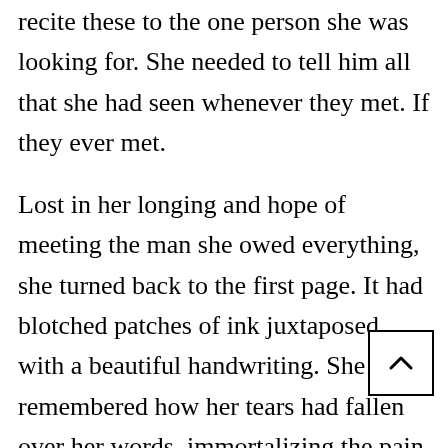recite these to the one person she was looking for. She needed to tell him all that she had seen whenever they met. If they ever met.

Lost in her longing and hope of meeting the man she owed everything, she turned back to the first page. It had blotched patches of ink juxtaposed with a beautiful handwriting. She remembered how her tears had fallen over her words, immortalizing the pain she had felt.

As her mind drifted, she found her vision blurring. Or did her vision blur, so that her mind could The eyes, they had always seemed to have a will of